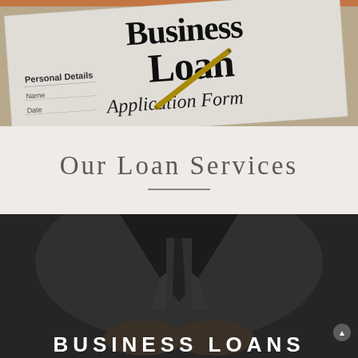[Figure (photo): A business loan application form with text reading 'Business Loan Application Form', 'Personal Details', 'Name', and a pen resting on the document. Orange accent bar at top.]
Our Loan Services
[Figure (photo): A man in a dark business suit with clasped hands, shot from chest level. Text overlay at bottom reads 'BUSINESS LOANS' in bold white capital letters.]